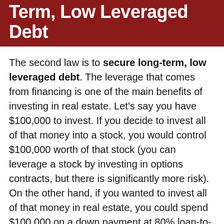Term, Low Leveraged Debt
The second law is to secure long-term, low leveraged debt. The leverage that comes from financing is one of the main benefits of investing in real estate. Let's say you have $100,000 to invest. If you decide to invest all of that money into a stock, you would control $100,000 worth of that stock (you can leverage a stock by investing in options contracts, but there is significantly more risk). On the other hand, if you wanted to invest all of that money in real estate, you could spend $100,000 on a down payment at 80% loan-to-value and control $500,000 worth of real estate. That's the power of leverage from financing.